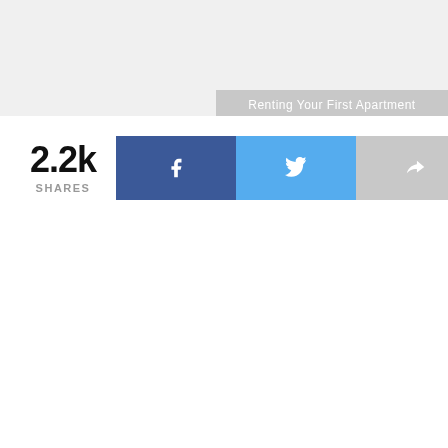Renting Your First Apartment
2.2k SHARES